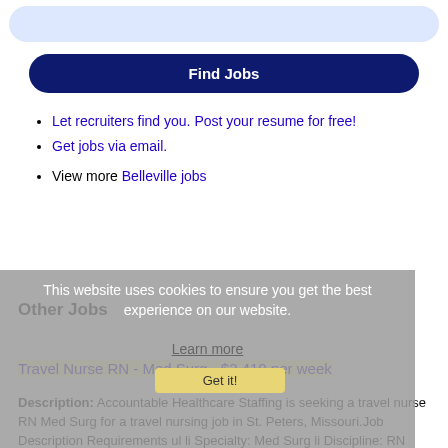[Figure (other): Rounded light blue search bar at top]
Find Jobs
Let recruiters find you. Post your resume for free!
Get jobs via email.
View more Belleville jobs
Other Jobs
This website uses cookies to ensure you get the best experience on our website.
Learn more
Get it!
Travel Nurse RN - Med Surg - $2,410 per week
Description: Accountable Healthcare Staffing is seeking a travel nurse RN Med Surg for a travel nursing job in St. Peters, Missouri.Job Description Requirements ul li Specialty: Med Surg li Discipline: RN (more...)